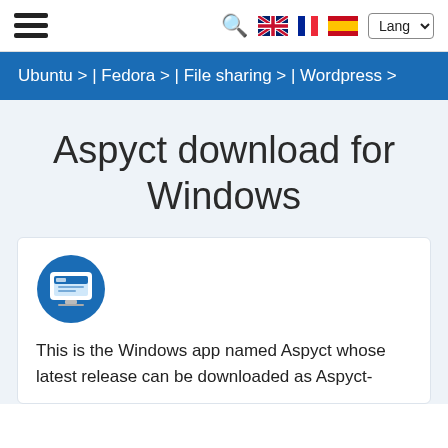[Figure (screenshot): Website navigation bar with hamburger menu, search icon, UK/France/Spain flags, and Lang dropdown]
Ubuntu > | Fedora > | File sharing > | Wordpress >
Aspyct download for Windows
[Figure (logo): Blue circular icon with a laptop/computer screen illustration]
This is the Windows app named Aspyct whose latest release can be downloaded as Aspyct-